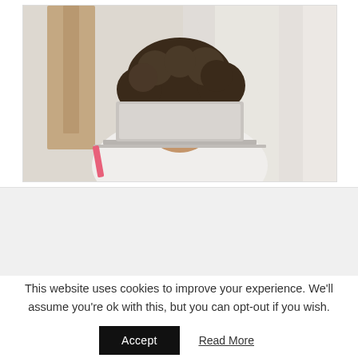[Figure (photo): A smiling woman with curly hair and glasses looking down at a laptop computer. She is wearing a white top. The background is bright and blurred with white curtains and wooden elements.]
This website uses cookies to improve your experience. We'll assume you're ok with this, but you can opt-out if you wish.
Accept   Read More